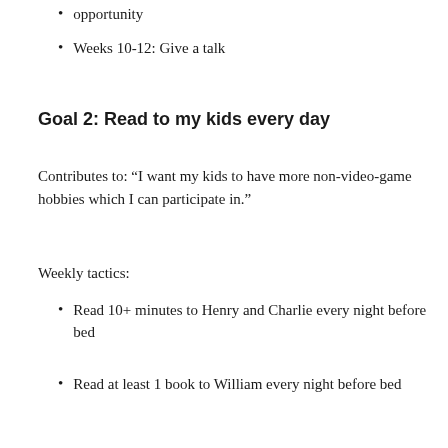opportunity
Weeks 10-12: Give a talk
Goal 2: Read to my kids every day
Contributes to: “I want my kids to have more non-video-game hobbies which I can participate in.”
Weekly tactics:
Read 10+ minutes to Henry and Charlie every night before bed
Read at least 1 book to William every night before bed